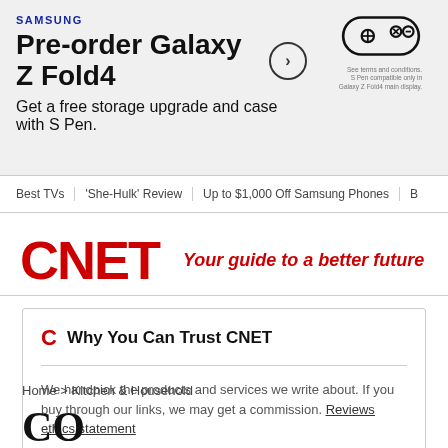[Figure (infographic): Samsung advertisement banner: Pre-order Galaxy Z Fold4. Get a free storage upgrade and case with S Pen. Circle arrow button. Gamepad icon top right. Small disclaimer text.]
Best TVs | 'She-Hulk' Review | Up to $1,000 Off Samsung Phones | B
[Figure (logo): CNET logo in red with tagline: Your guide to a better future]
Why You Can Trust CNET
We handpick the products and services we write about. If you buy through our links, we may get a commission. Reviews ethics statement
Home > Kitchen & Household